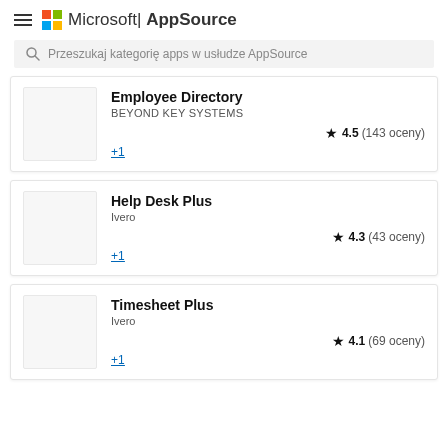Microsoft AppSource
Przeszukaj kategorię apps w usłudze AppSource
Employee Directory
BEYOND KEY SYSTEMS
★ 4.5 (143 oceny)
+1
Help Desk Plus
Ivero
★ 4.3 (43 oceny)
+1
Timesheet Plus
Ivero
★ 4.1 (69 oceny)
+1